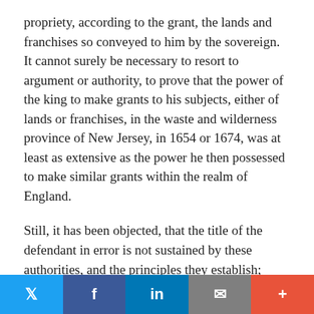propriety, according to the grant, the lands and franchises so conveyed to him by the sovereign. It cannot surely be necessary to resort to argument or authority, to prove that the power of the king to make grants to his subjects, either of lands or franchises, in the waste and wilderness province of New Jersey, in 1654 or 1674, was at least as extensive as the power he then possessed to make similar grants within the realm of England.
Still, it has been objected, that the title of the defendant in error is not sustained by these authorities, and the principles they establish; because it is said, the power of the king to grant is confined to the alienation of his private property, 'his ordinary revenue,' 'lands vested in him upon feudal principles,' and does not extend to the pulic property, to property held 'by virtue of his prerogative,' in which way only, it is alleged, he holds 'the allodium of the soil of navigable